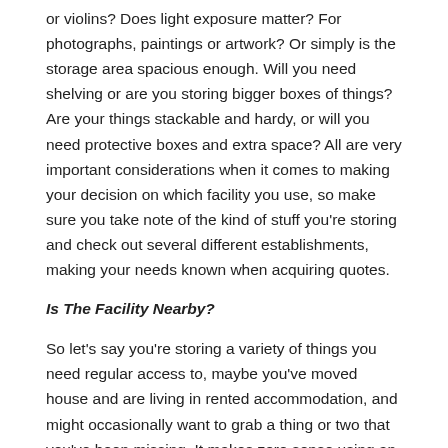or violins? Does light exposure matter? For photographs, paintings or artwork? Or simply is the storage area spacious enough. Will you need shelving or are you storing bigger boxes of things? Are your things stackable and hardy, or will you need protective boxes and extra space? All are very important considerations when it comes to making your decision on which facility you use, so make sure you take note of the kind of stuff you're storing and check out several different establishments, making your needs known when acquiring quotes.
Is The Facility Nearby?
So let's say you're storing a variety of things you need regular access to, maybe you've moved house and are living in rented accommodation, and might occasionally want to grab a thing or two that you've been missing. It makes zero sense using an establishment that's more than about half an hour away. You do not want to be wasting time ferrying back and forth at an extremely